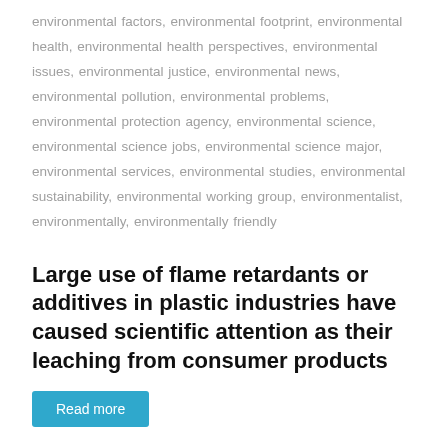environmental factors, environmental footprint, environmental health, environmental health perspectives, environmental issues, environmental justice, environmental news, environmental pollution, environmental problems, environmental protection agency, environmental science, environmental science jobs, environmental science major, environmental services, environmental studies, environmental sustainability, environmental working group, environmentalist, environmentally, environmentally friendly
Large use of flame retardants or additives in plastic industries have caused scientific attention as their leaching from consumer products
Read more
Development of Opsonic Mouse Monoclonal Antibodies against
Multidrug-Resistant Enterococci
Organic monoclonal antibodies